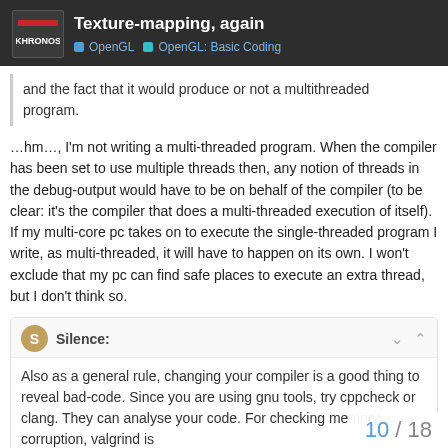Texture-mapping, again | OpenGL | OpenGL: Basic Coding
and the fact that it would produce or not a multithreaded program.
…hm…, I'm not writing a multi-threaded program. When the compiler has been set to use multiple threads then, any notion of threads in the debug-output would have to be on behalf of the compiler (to be clear: it's the compiler that does a multi-threaded execution of itself). If my multi-core pc takes on to execute the single-threaded program I write, as multi-threaded, it will have to happen on its own. I won't exclude that my pc can find safe places to execute an extra thread, but I don't think so.
Silence: Also as a general rule, changing your compiler is a good thing to reveal bad-code. Since you are using gnu tools, try cppcheck or clang. They can analyse your code. For checking memory corruption, valgrind is
10 / 18